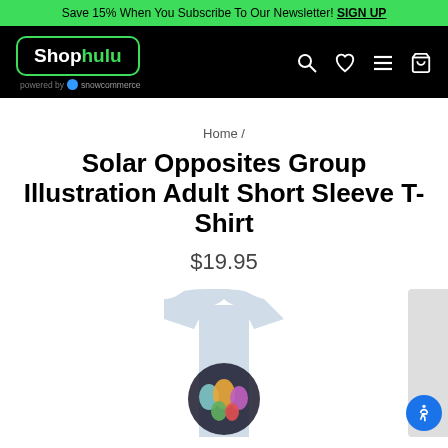Save 15% When You Subscribe To Our Newsletter! SIGN UP
[Figure (logo): Shop hulu logo in green-outlined box on black navigation bar with search, heart, menu, and cart icons. Powered by snowcommerce text below logo.]
Home /
Solar Opposites Group Illustration Adult Short Sleeve T-Shirt
$19.95
[Figure (photo): Light blue adult short sleeve t-shirt with Solar Opposites group illustration graphic on the front, partially visible at bottom of page.]